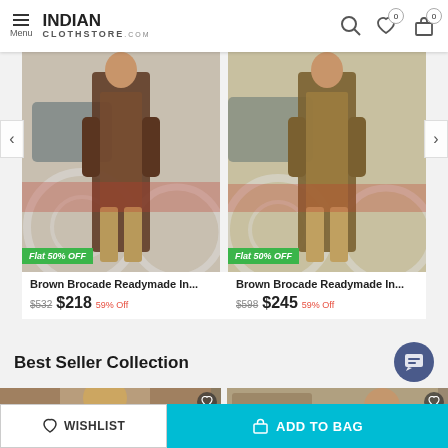Menu | INDIANCLOTHSTORE.COM
[Figure (photo): Brown Brocade sherwani product photo on male model with carriage background, 'Flat 50% OFF' badge]
[Figure (photo): Brown Brocade sherwani (golden) product photo on male model with carriage background, 'Flat 50% OFF' badge]
Brown Brocade Readymade In...
$532  $218  59% Off
Brown Brocade Readymade In...
$598  $245  59% Off
Best Seller Collection
[Figure (photo): Partial thumbnail of male model in ethnic wear with turban]
[Figure (photo): Partial thumbnail of male model in ethnic wear]
WISHLIST
ADD TO BAG